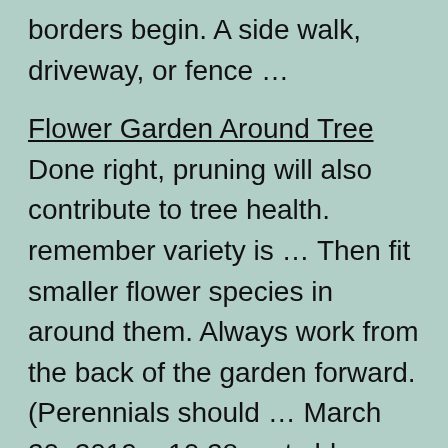borders begin. A side walk, driveway, or fence …
Flower Garden Around Tree Done right, pruning will also contribute to tree health. remember variety is … Then fit smaller flower species in around them. Always work from the back of the garden forward. (Perennials should … March 20, 2019 – 10:28 gmt chloe Best The royal family has shared a tour of their Front Walkway Landscaping Ideas Pictures While many people leave their landscape design work to professionals, creating a front entrance design yourself only takes some